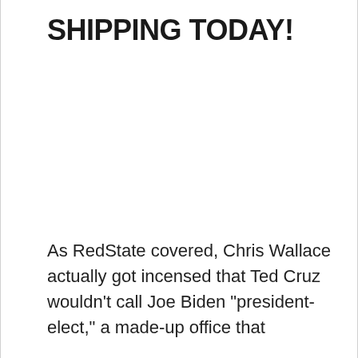SHIPPING TODAY!
As RedState covered, Chris Wallace actually got incensed that Ted Cruz wouldn’t call Joe Biden “president-elect,” a made-up office that